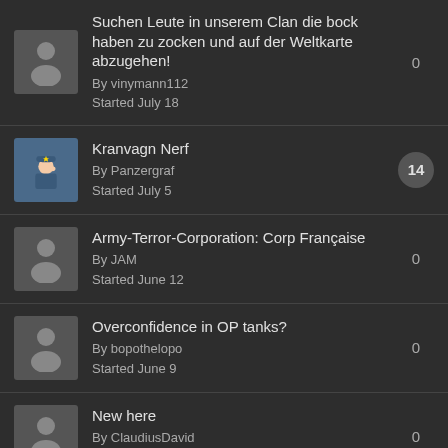Suchen Leute in unserem Clan die bock haben zu zocken und auf der Weltkarte abzugehen! By vinymann112 Started July 18 | replies: 0
Kranvagn Nerf By Panzergraf Started July 5 | replies: 14
Army-Terror-Corporation: Corp Française By JAM Started June 12 | replies: 0
Overconfidence in OP tanks? By bopothelopo Started June 9 | replies: 0
New here By ClaudiusDavid Started May 28 | replies: 0